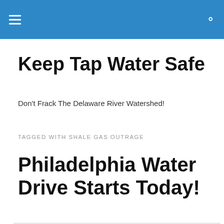Keep Tap Water Safe — site header navigation bar
Keep Tap Water Safe
Don't Frack The Delaware River Watershed!
TAGGED WITH SHALE GAS OUTRAGE
Philadelphia Water Drive Starts Today!
Privacy & Cookies: This site uses cookies. By continuing to use this website, you agree to their use. To find out more, including how to control cookies, see here: Cookie Policy
Close and accept
red, or black and sludgy. Imagine taking a shower and